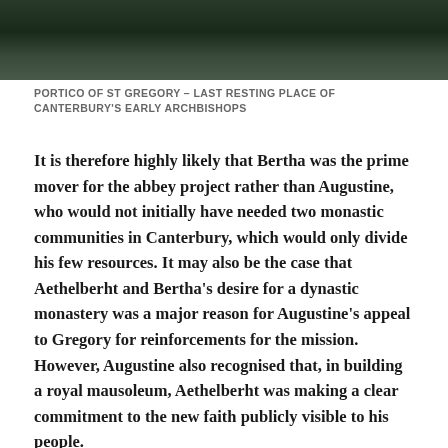[Figure (photo): Dark overhead photo, possibly of stone, moss, or architectural surface, shown as a horizontal strip at the top of the page.]
PORTICO OF ST GREGORY – LAST RESTING PLACE OF CANTERBURY'S EARLY ARCHBISHOPS
It is therefore highly likely that Bertha was the prime mover for the abbey project rather than Augustine, who would not initially have needed two monastic communities in Canterbury, which would only divide his few resources. It may also be the case that Aethelberht and Bertha's desire for a dynastic monastery was a major reason for Augustine's appeal to Gregory for reinforcements for the mission. However, Augustine also recognised that, in building a royal mausoleum, Aethelberht was making a clear commitment to the new faith publicly visible to his people. (Gem: St Augustine's Abbey, 36)